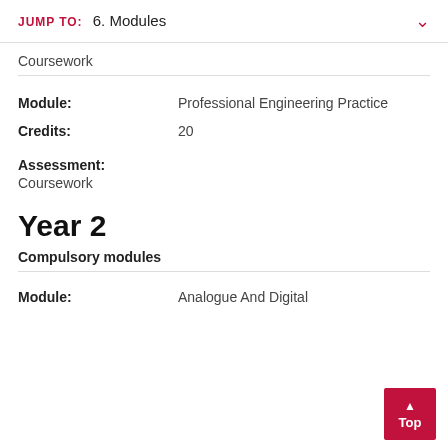JUMP TO: 6. Modules
Coursework
Module: Professional Engineering Practice
Credits: 20
Assessment: Coursework
Year 2
Compulsory modules
Module: Analogue And Digital